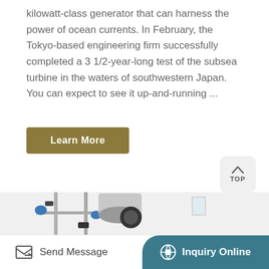kilowatt-class generator that can harness the power of ocean currents. In February, the Tokyo-based engineering firm successfully completed a 3 1/2-year-long test of the subsea turbine in the waters of southwestern Japan. You can expect to see it up-and-running ...
Learn More
[Figure (photo): Laboratory glassware and equipment including a round-bottom flask, metal rods, blue fittings, and a motor/generator unit mounted on stands.]
Send Message
Inquiry Online